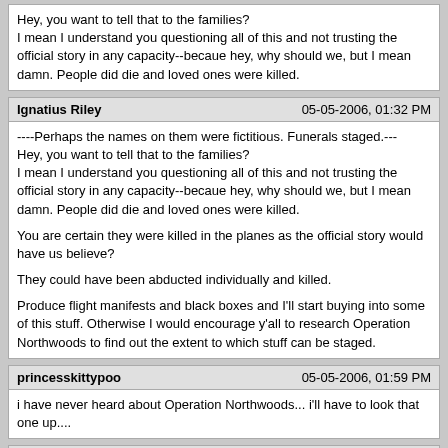Hey, you want to tell that to the families?
I mean I understand you questioning all of this and not trusting the official story in any capacity--becaue hey, why should we, but I mean damn. People did die and loved ones were killed.
Ignatius Riley
05-05-2006, 01:32 PM
----Perhaps the names on them were fictitious. Funerals staged.---
Hey, you want to tell that to the families?
I mean I understand you questioning all of this and not trusting the official story in any capacity--becaue hey, why should we, but I mean damn. People did die and loved ones were killed.

You are certain they were killed in the planes as the official story would have us believe?

They could have been abducted individually and killed.

Produce flight manifests and black boxes and I'll start buying into some of this stuff. Otherwise I would encourage y'all to research Operation Northwoods to find out the extent to which stuff can be staged.
princesskittypoo
05-05-2006, 01:59 PM
i have never heard about Operation Northwoods... i'll have to look that one up....
Gold9472
05-05-2006, 02:14 PM
I've read Northwoods several times, and a lot of people say that Northwoods was taken off the shelf for 9/11. I don't think that's the case. Northwoods, for me, is used to show that our Government is capable. Nothing more.

Northwoods even says: